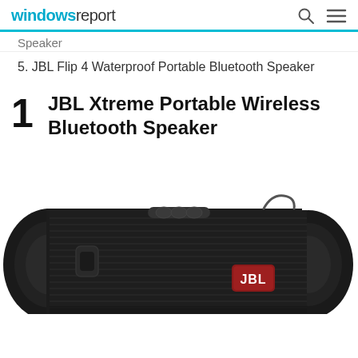windowsreport
Speaker
5. JBL Flip 4 Waterproof Portable Bluetooth Speaker
1 JBL Xtreme Portable Wireless Bluetooth Speaker
[Figure (photo): JBL Xtreme Portable Wireless Bluetooth Speaker — black cylindrical portable speaker with fabric grille, rubber end caps, control buttons on top, and red JBL logo badge on the front.]